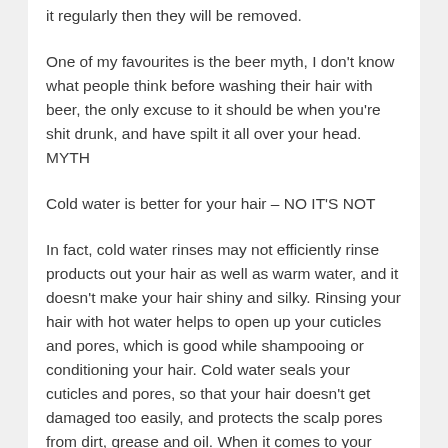it regularly then they will be removed.
One of my favourites is the beer myth, I don't know what people think before washing their hair with beer, the only excuse to it should be when you're shit drunk, and have spilt it all over your head.  MYTH
Cold water is better for your hair – NO IT'S NOT
In fact, cold water rinses may not efficiently rinse products out your hair as well as warm water, and it doesn't make your hair shiny and silky. Rinsing your hair with hot water helps to open up your cuticles and pores, which is good while shampooing or conditioning your hair. Cold water seals your cuticles and pores, so that your hair doesn't get damaged too easily, and protects the scalp pores from dirt, grease and oil. When it comes to your shampoo, the best advice is to use Paraben (chemical preservatives) &